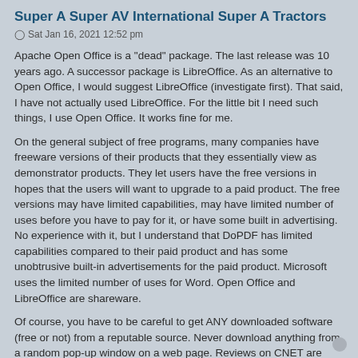Super A Super AV International Super A Tractors
Sat Jan 16, 2021 12:52 pm
Apache Open Office is a "dead" package. The last release was 10 years ago. A successor package is LibreOffice. As an alternative to Open Office, I would suggest LibreOffice (investigate first). That said, I have not actually used LibreOffice. For the little bit I need such things, I use Open Office. It works fine for me.
On the general subject of free programs, many companies have freeware versions of their products that they essentially view as demonstrator products. They let users have the free versions in hopes that the users will want to upgrade to a paid product. The free versions may have limited capabilities, may have limited number of uses before you have to pay for it, or have some built in advertising. No experience with it, but I understand that DoPDF has limited capabilities compared to their paid product and has some unobtrusive built-in advertisements for the paid product. Microsoft uses the limited number of uses for Word. Open Office and LibreOffice are shareware.
Of course, you have to be careful to get ANY downloaded software (free or not) from a reputable source. Never download anything from a random pop-up window on a web page. Reviews on CNET are often helpful for determining if something is legit.